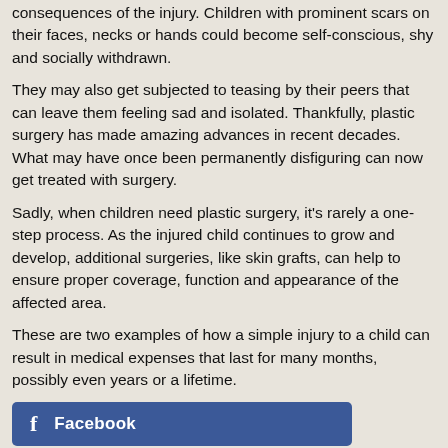consequences of the injury. Children with prominent scars on their faces, necks or hands could become self-conscious, shy and socially withdrawn.
They may also get subjected to teasing by their peers that can leave them feeling sad and isolated. Thankfully, plastic surgery has made amazing advances in recent decades. What may have once been permanently disfiguring can now get treated with surgery.
Sadly, when children need plastic surgery, it's rarely a one-step process. As the injured child continues to grow and develop, additional surgeries, like skin grafts, can help to ensure proper coverage, function and appearance of the affected area.
These are two examples of how a simple injury to a child can result in medical expenses that last for many months, possibly even years or a lifetime.
[Figure (other): Facebook share button (blue rectangle with 'f Facebook' label)]
[Figure (other): Cyan/Twitter share button (partial, cut off at bottom)]